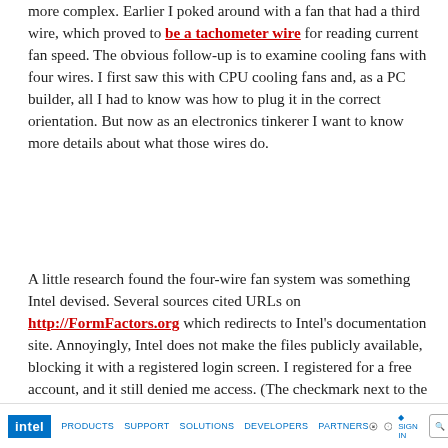more complex. Earlier I poked around with a fan that had a third wire, which proved to be a tachometer wire for reading current fan speed. The obvious follow-up is to examine cooling fans with four wires. I first saw this with CPU cooling fans and, as a PC builder, all I had to know was how to plug it in the correct orientation. But now as an electronics tinkerer I want to know more details about what those wires do.
A little research found the four-wire fan system was something Intel devised. Several sources cited URLs on http://FormFactors.org which redirects to Intel's documentation site. Annoyingly, Intel does not make the files publicly available, blocking it with a registered login screen. I registered for a free account, and it still denied me access. (The checkmark next to the user icon means I've registered and signed in.)
[Figure (screenshot): Intel website navigation bar with Intel logo, nav links (PRODUCTS, SUPPORT, SOLUTIONS, DEVELOPERS, PARTNERS), icons, and search box]